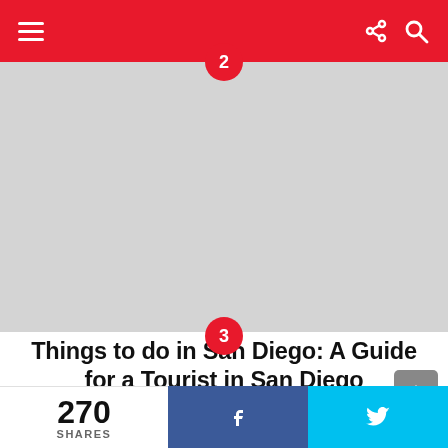Navigation bar with hamburger menu, share icon, and search icon
[Figure (photo): Large image placeholder (light gray) with red badge number 2 at top center]
Things to do in San Diego: A Guide for a Tourist in San Diego
[Figure (photo): Image placeholder (light gray) with red badge number 3 at top center]
270 SHARES  [Facebook share button]  [Twitter share button]